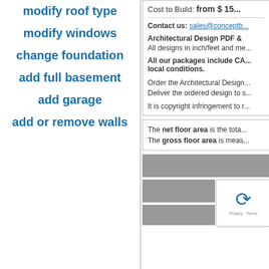modify roof type
modify windows
change foundation
add full basement
add garage
add or remove walls
Cost to Build: from $ 15...
Contact us: sales@conceptb...
Architectural Design PDF & ...
All designs in inch/feet and me...
All our packages include CA... local conditions.
Order the Architectural Design... Deliver the ordered design to s...
It is copyright infringement to r...
The net floor area is the tota... The gross floor area is meas...